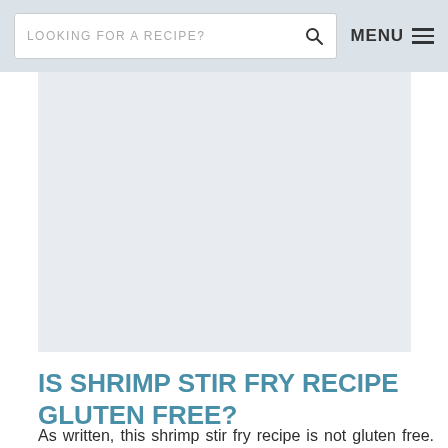LOOKING FOR A RECIPE? [search] MENU ≡
[Figure (photo): Large rectangular image placeholder with light gray/blue background, likely a photo of shrimp stir fry dish]
IS SHRIMP STIR FRY RECIPE GLUTEN FREE?
As written, this shrimp stir fry recipe is not gluten free.  To make it gluten free, use gluten free soy sauce or tamari in the quick shrimp